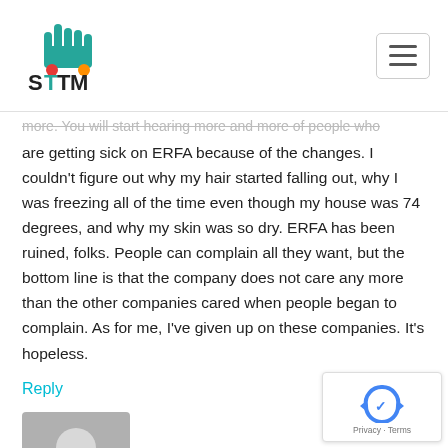STTM (logo)
more. You will start hearing more and more of people who are getting sick on ERFA because of the changes. I couldn't figure out why my hair started falling out, why I was freezing all of the time even though my house was 74 degrees, and why my skin was so dry. ERFA has been ruined, folks. People can complain all they want, but the bottom line is that the company does not care any more than the other companies cared when people began to complain. As for me, I've given up on these companies. It's hopeless.
Reply
[Figure (illustration): Generic user avatar (grey silhouette on grey background)]
Alex Lange